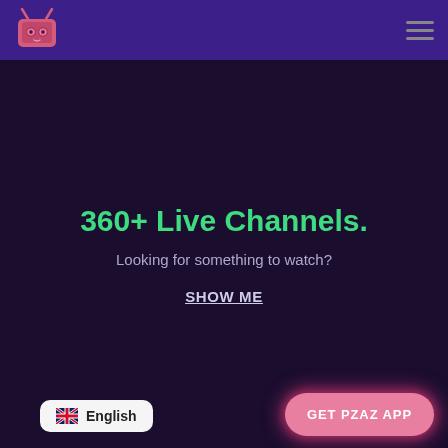[Figure (logo): Pzaz TV logo: pink cartoon TV with spiral eyes and antenna, on purple header bar]
360+ Live Channels.
Looking for something to watch?
SHOW ME
🇬🇧 English
GET PZAZ APP